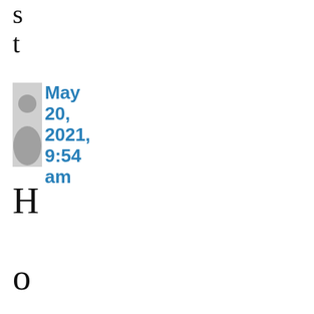st
May 20, 2021, 9:54 am
HowCrypto cur